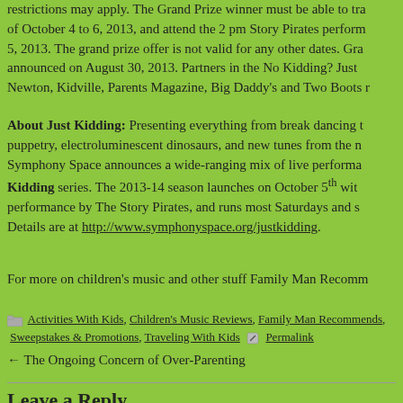restrictions may apply. The Grand Prize winner must be able to travel the week of October 4 to 6, 2013, and attend the 2 pm Story Pirates performance on October 5, 2013. The grand prize offer is not valid for any other dates. Grand prize will be announced on August 30, 2013. Partners in the No Kidding? Just Kidding! include Newton, Kidville, Parents Magazine, Big Daddy's and Two Boots restaurant.
About Just Kidding: Presenting everything from break dancing to puppetry, electroluminescent dinosaurs, and new tunes from the n... Symphony Space announces a wide-ranging mix of live performa... Just Kidding series. The 2013-14 season launches on October 5th with a special performance by The Story Pirates, and runs most Saturdays and ... Details are at http://www.symphonyspace.org/justkidding.
For more on children's music and other stuff Family Man Recomm...
Activities With Kids, Children's Music Reviews, Family Man Recommends, Sweepstakes & Promotions, Traveling With Kids  Permalink
← The Ongoing Concern of Over-Parenting
Leave a Reply